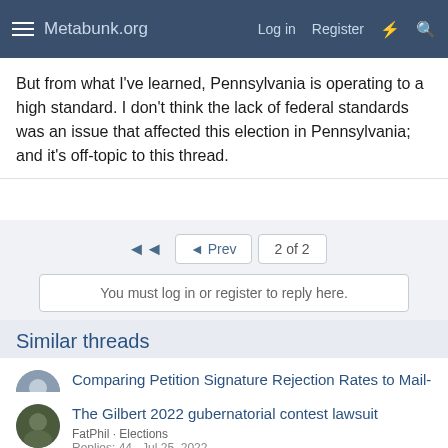Metabunk.org — Log in  Register
But from what I've learned, Pennsylvania is operating to a high standard. I don't think the lack of federal standards was an issue that affected this election in Pennsylvania; and it's off-topic to this thread.
◄◄  ◄ Prev  2 of 2
You must log in or register to reply here.
Similar threads
Comparing Petition Signature Rejection Rates to Mail-in Ballot Rejection Rates
Mick West · Elections
Replies: 10 · Aug 17, 2022
The Gilbert 2022 gubernatorial contest lawsuit
FatPhil · Elections
Replies: 44 · Jul 25, 2022